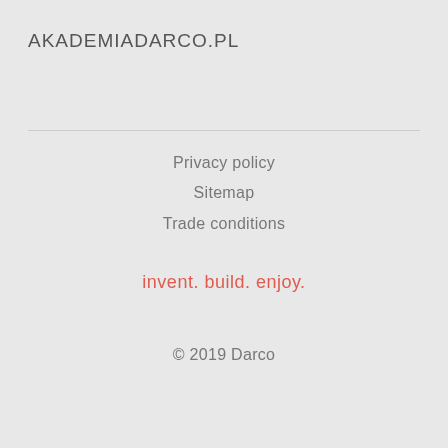AKADEMIADARCO.PL
Privacy policy
Sitemap
Trade conditions
invent. build. enjoy.
© 2019 Darco